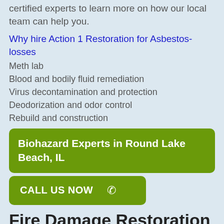certified experts to learn more on how our local team can help you.
Why hire Action 1 Restoration for Asbestos-losses
Meth lab
Blood and bodily fluid remediation
Virus decontamination and protection
Deodorization and odor control
Rebuild and construction
Biohazard Experts in Round Lake Beach, IL
CALL US NOW
Fire Damage Restoration and Repair
As a leading fire